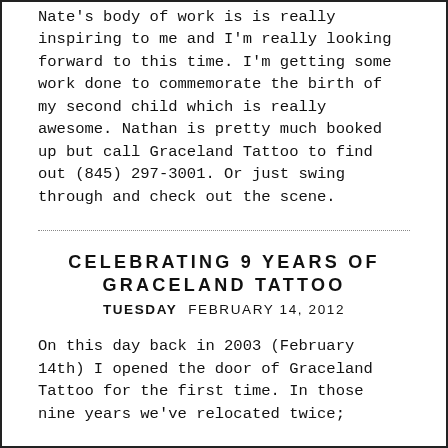Nate's body of work is is really inspiring to me and I'm really looking forward to this time. I'm getting some work done to commemorate the birth of my second child which is really awesome. Nathan is pretty much booked up but call Graceland Tattoo to find out (845) 297-3001. Or just swing through and check out the scene.
CELEBRATING 9 YEARS OF GRACELAND TATTOO
TUESDAY  FEBRUARY 14, 2012
On this day back in 2003 (February 14th) I opened the door of Graceland Tattoo for the first time. In those nine years we've relocated twice;